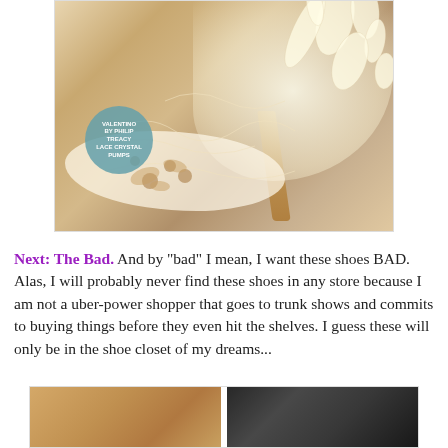[Figure (photo): Close-up photograph of an ornate high-heel shoe decorated with ivory/cream lace and floral embellishments, with a gold stiletto heel. A teal circular label reads 'VALENTINO BY PHILIP TREACY lace crystal pumps'.]
Next: The Bad.  And by "bad" I mean, I want these shoes BAD.  Alas, I will probably never find these shoes in any store because I am not a uber-power shopper that goes to trunk shows and commits to buying things before they even hit the shelves. I guess these will only be in the shoe closet of my dreams...
[Figure (photo): Two partially visible photographs at the bottom of the page showing shoes.]